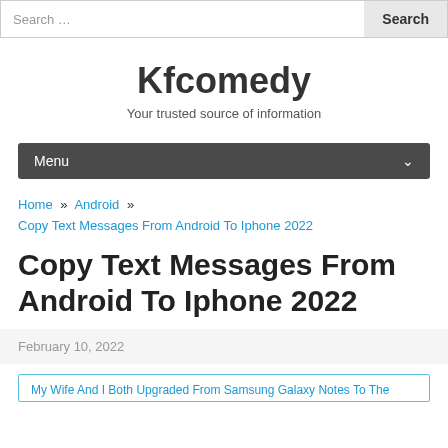Search …  Search
Kfcomedy
Your trusted source of information
Menu
Home » Android » Copy Text Messages From Android To Iphone 2022
Copy Text Messages From Android To Iphone 2022
February 10, 2022
My Wife And I Both Upgraded From Samsung Galaxy Notes To The